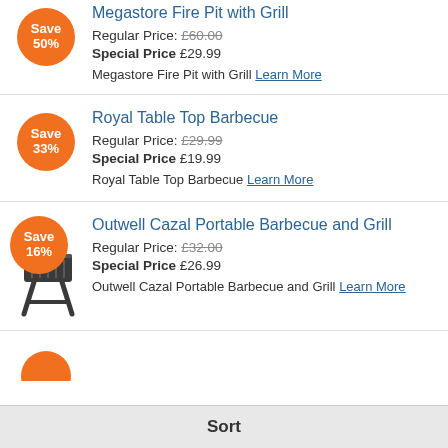Megastore Fire Pit with Grill
Regular Price: £60.00 Special Price £29.99
Megastore Fire Pit with Grill Learn More
Royal Table Top Barbecue
Regular Price: £29.99 Special Price £19.99
Royal Table Top Barbecue Learn More
Outwell Cazal Portable Barbecue and Grill
Regular Price: £32.00 Special Price £26.99
Outwell Cazal Portable Barbecue and Grill Learn More
Sort